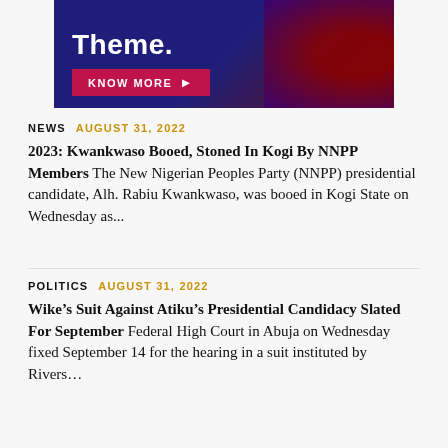[Figure (infographic): Advertisement banner with dark blue and red background. White bold text reads 'Theme.' with a pink/red 'KNOW MORE ►' button below.]
NEWS  AUGUST 31, 2022
2023: Kwankwaso Booed, Stoned In Kogi By NNPP Members  The New Nigerian Peoples Party (NNPP) presidential candidate, Alh. Rabiu Kwankwaso, was booed in Kogi State on Wednesday as...
POLITICS  AUGUST 31, 2022
Wike's Suit Against Atiku's Presidential Candidacy Slated For September  Federal High Court in Abuja on Wednesday fixed September 14 for the hearing in a suit instituted by Rivers...